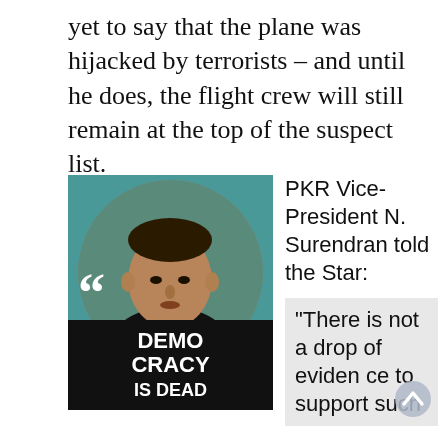yet to say that the plane was hijacked by terrorists – and until he does, the flight crew will still remain at the top of the suspect list.
[Figure (photo): Photo of a man wearing a black 'DEMOCRACY IS DEAD' t-shirt, with a large open quote mark overlay in the lower left corner of the image.]
PKR Vice-President N. Surendran told the Star:
“There is not a drop of evidence to support such